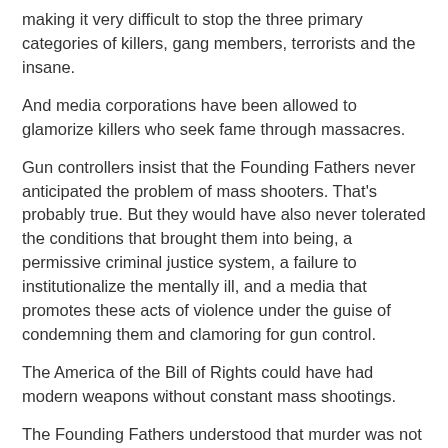making it very difficult to stop the three primary categories of killers, gang members, terrorists and the insane.
And media corporations have been allowed to glamorize killers who seek fame through massacres.
Gun controllers insist that the Founding Fathers never anticipated the problem of mass shooters. That's probably true. But they would have also never tolerated the conditions that brought them into being, a permissive criminal justice system, a failure to institutionalize the mentally ill, and a media that promotes these acts of violence under the guise of condemning them and clamoring for gun control.
The America of the Bill of Rights could have had modern weapons without constant mass shootings.
The Founding Fathers understood that murder was not a technical problem, a matter of tools, but a moral problem. The Bill of Rights was meant for a moral society. It cannot function in an immoral one.